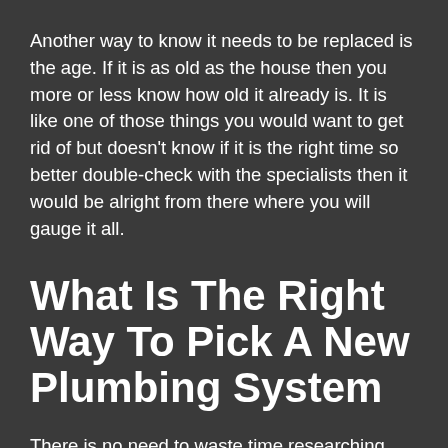Another way to know it needs to be replaced is the age. If it is as old as the house then you more or less know how old it already is. It is like one of those things you would want to get rid of but doesn't know if it is the right time so better double-check with the specialists then it would be alright from there where you will gauge it all.
What Is The Right Way To Pick A New Plumbing System
There is no need to waste time researching whatever it is you need. It would be better to get the advice of specialists so that you will know right away what plumbing system you need and it won't be long before